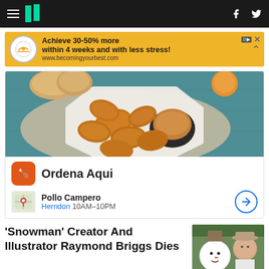HuffPost navigation bar with hamburger menu, logo, Facebook and Twitter icons
[Figure (infographic): Advertisement banner: golden yellow background, circular logo with handshake icon, text 'Achieve 30-50% more within 4 weeks and with less stress! www.becomingyourbest.com']
[Figure (photo): Advertisement for Pollo Campero showing fried chicken nuggets on a white plate with dipping sauce, bread in background on teal wooden table. Card includes 'Ordena Aqui' button, Pollo Campero name, Herndon 10AM-10PM hours, and navigation icon.]
'Snowman' Creator And Illustrator Raymond Briggs Dies
[Figure (photo): Thumbnail photo of elderly man (Raymond Briggs) next to a person dressed as The Snowman character]